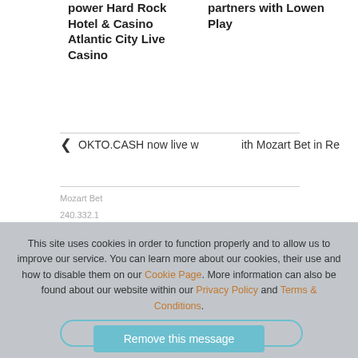power Hard Rock Hotel & Casino Atlantic City Live Casino
partners with Lowen Play
❮ OKTO.CASH now live with Mozart Bet in Romania ❯
This site uses cookies in order to function properly and to allow us to improve our service. You can learn more about our cookies, their use and how to disable them on our Cookie Page. More information can also be found about our website within our Privacy Policy and Terms & Conditions.
Remove this message